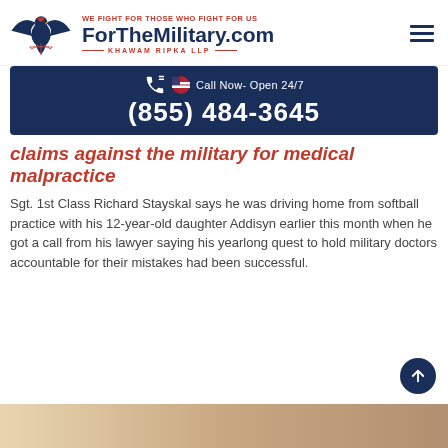[Figure (logo): ForTheMilitary.com logo with eagle, scales of justice, tagline 'WE FIGHT FOR THOSE WHO FIGHT FOR US' and firm name 'KHAWAM RIPKA LLP']
[Figure (infographic): Dark navy call-to-action banner with phone icon, US flag emoji, text 'Call Now- Open 24/7' and phone number '(855) 484-3645']
claims against the military for medical malpractice
Sgt. 1st Class Richard Stayskal says he was driving home from softball practice with his 12-year-old daughter Addisyn earlier this month when he got a call from his lawyer saying his yearlong quest to hold military doctors accountable for their mistakes had been successful.
[Figure (photo): Partial photo visible at bottom of page]